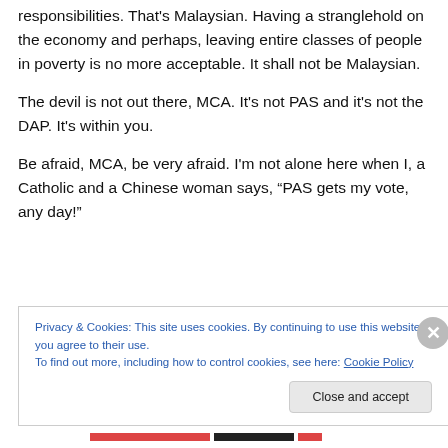responsibilities. That's Malaysian. Having a stranglehold on the economy and perhaps, leaving entire classes of people in poverty is no more acceptable. It shall not be Malaysian.
The devil is not out there, MCA. It's not PAS and it's not the DAP. It's within you.
Be afraid, MCA, be very afraid. I'm not alone here when I, a Catholic and a Chinese woman says, “PAS gets my vote, any day!”
Privacy & Cookies: This site uses cookies. By continuing to use this website, you agree to their use.
To find out more, including how to control cookies, see here: Cookie Policy